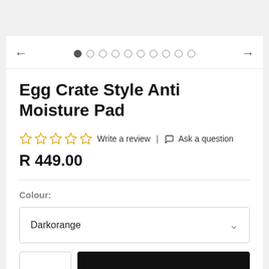[Figure (screenshot): Navigation row with left arrow, 10 pagination dots (first filled), and right arrow]
Egg Crate Style Anti Moisture Pad
☆☆☆☆☆ Write a review | 💬 Ask a question
R 449.00
Colour:
Darkorange